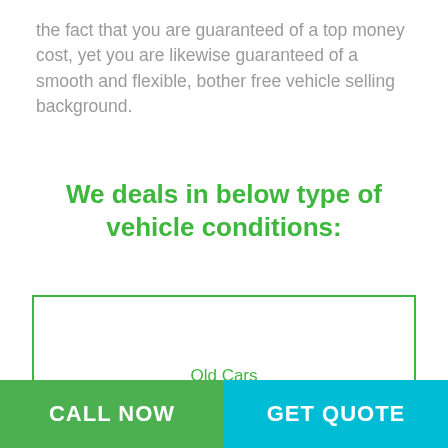the fact that you are guaranteed of a top money cost, yet you are likewise guaranteed of a smooth and flexible, bother free vehicle selling background.
We deals in below type of vehicle conditions:
[Figure (other): A bordered box with 'Old Cars' label in green text centered within it.]
Old Cars
CALL NOW
GET QUOTE